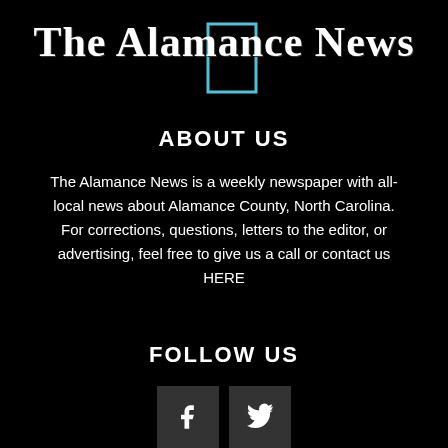The Alamance News
ABOUT US
The Alamance News is a weekly newspaper with all-local news about Alamance County, North Carolina. For corrections, questions, letters to the editor, or advertising, feel free to give us a call or contact us HERE
FOLLOW US
[Figure (illustration): Facebook and Twitter social media icon buttons]